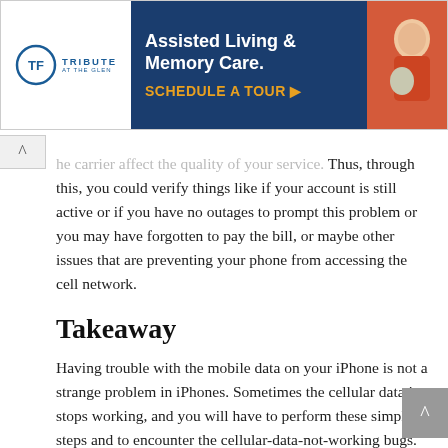[Figure (other): Advertisement banner for Tribute at the Glen: Assisted Living & Memory Care. Schedule a Tour. Shows logo on white left panel and dark blue right panel with elderly person photo.]
...contact your carrier. The issues in your account or the carrier affect the quality of your service. Thus, through this, you could verify things like if your account is still active or if you have no outages to prompt this problem or you may have forgotten to pay the bill, or maybe other issues that are preventing your phone from accessing the cell network.
Takeaway
Having trouble with the mobile data on your iPhone is not a strange problem in iPhones. Sometimes the cellular data just stops working, and you will have to perform these simple steps and to encounter the cellular-data-not-working bugs. And at some point, if these primary steps still